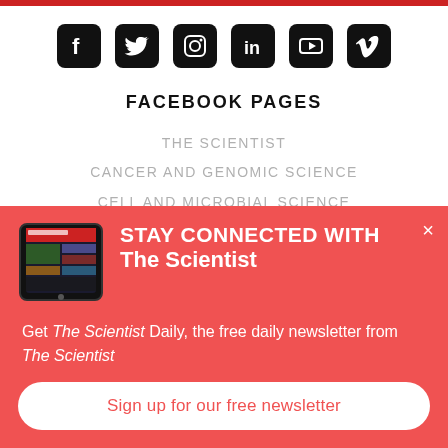[Figure (infographic): Social media icons row: Facebook, Twitter, Instagram, LinkedIn, YouTube, Vimeo — each in a rounded black square]
FACEBOOK PAGES
THE SCIENTIST
CANCER AND GENOMIC SCIENCE
CELL AND MICROBIAL SCIENCE
THE NEUROSCIENTIST
[Figure (screenshot): Tablet displaying The Scientist Daily app]
STAY CONNECTED WITH The Scientist
Get The Scientist Daily, the free daily newsletter from The Scientist
Sign up for our free newsletter